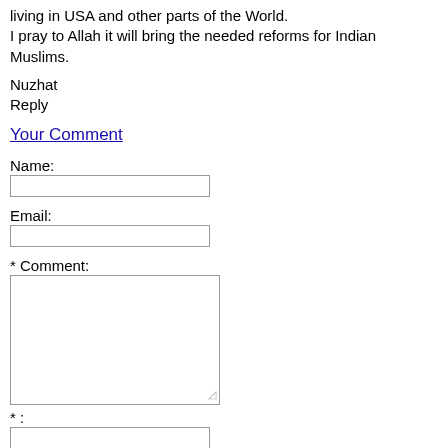living in USA and other parts of the World.
I pray to Allah it will bring the needed reforms for Indian Muslims.
Nuzhat
Reply
Your Comment
Name:
Email:
* Comment:
* :
Send